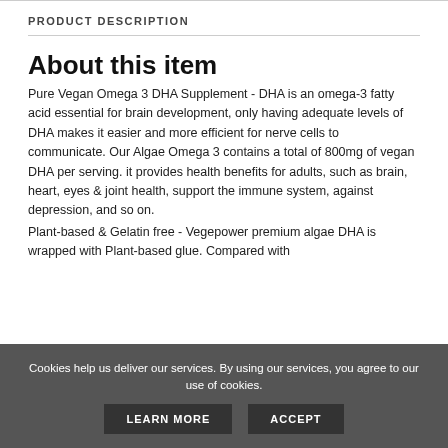PRODUCT DESCRIPTION
About this item
Pure Vegan Omega 3 DHA Supplement - DHA is an omega-3 fatty acid essential for brain development, only having adequate levels of DHA makes it easier and more efficient for nerve cells to communicate. Our Algae Omega 3 contains a total of 800mg of vegan DHA per serving. it provides health benefits for adults, such as brain, heart, eyes & joint health, support the immune system, against depression, and so on.
Plant-based & Gelatin free - Vegepower premium algae DHA is wrapped with Plant-based glue. Compared with
Cookies help us deliver our services. By using our services, you agree to our use of cookies.